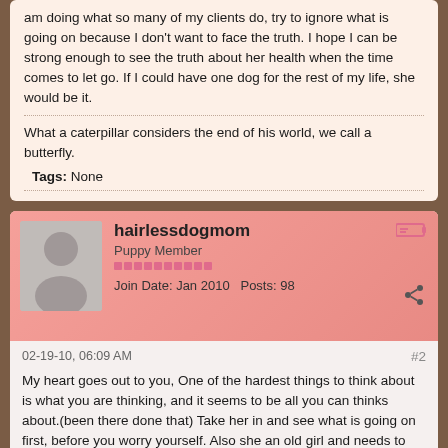am doing what so many of my clients do, try to ignore what is going on because I don't want to face the truth. I hope I can be strong enough to see the truth about her health when the time comes to let go. If I could have one dog for the rest of my life, she would be it.
What a caterpillar considers the end of his world, we call a butterfly.
Tags: None
hairlessdogmom
Puppy Member
Join Date: Jan 2010   Posts: 98
02-19-10, 06:09 AM
#2
My heart goes out to you, One of the hardest things to think about is what you are thinking, and it seems to be all you can thinks about.(been there done that) Take her in and see what is going on first, before you worry yourself. Also she an old girl and needs to feel special, give her that little extra piece of steak, the milk left in your bowl, why not think of all the secrets